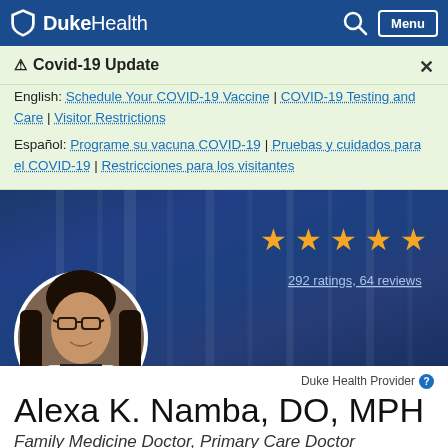DukeHealth — Search — Menu
⚠ Covid-19 Update
English: Schedule Your COVID-19 Vaccine | COVID-19 Testing and Care | Visitor Restrictions
Español: Programe su vacuna COVID-19 | Pruebas y cuidados para el COVID-19 | Restricciones para los visitantes
[Figure (photo): Doctor profile photo of Alexa K. Namba, DO, MPH in circular frame on dark blue background with 5 gold stars and '292 ratings, 64 reviews' text]
Duke Health Provider
Alexa K. Namba, DO, MPH
Family Medicine Doctor, Primary Care Doctor